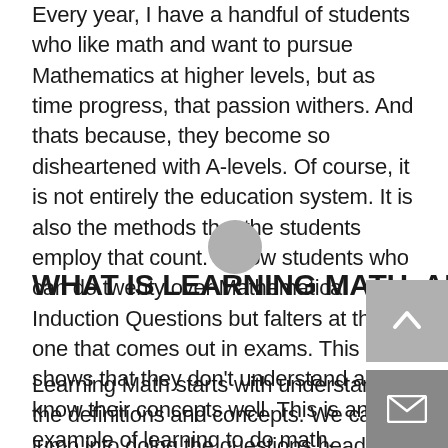Every year, I have a handful of students who like math and want to pursue Mathematics at higher levels, but as time progress, that passion withers. And thats because, they become so disheartened with A-levels. Of course, it is not entirely the education system. It is also the methods that the students employ that count. I know students who can do twenty over Mathematical Induction Questions but falters at the one that comes out in exams. This shows that they don't understand and know their concepts well. This is an example of learning to do math.
WHAT IS LEARNING MATH, AND HOW IMPORTANT IS IT?
Learning Math starts with understanding the definitions and concepts. We cannot jump into doing the questions head first. We need to sit on what we